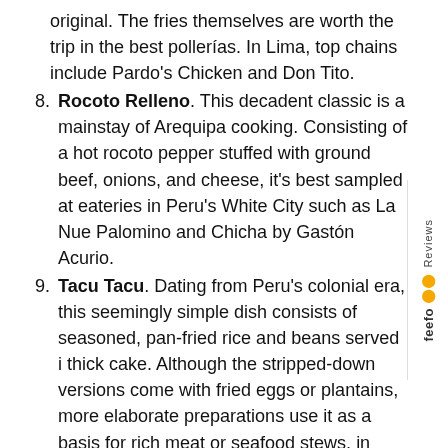original. The fries themselves are worth the trip in the best pollerías. In Lima, top chains include Pardo's Chicken and Don Tito.
Rocoto Relleno. This decadent classic is a mainstay of Arequipa cooking. Consisting of a hot rocoto pepper stuffed with ground beef, onions, and cheese, it's best sampled at eateries in Peru's White City such as La Nue Palomino and Chicha by Gastón Acurio.
Tacu Tacu. Dating from Peru's colonial era, this seemingly simple dish consists of seasoned, pan-fried rice and beans served i thick cake. Although the stripped-down versions come with fried eggs or plantains, more elaborate preparations use it as a basis for rich meat or seafood stews, in dishes that showcase Afro-Peruvians' contributions to the country's national cuisine.
Pisco Sour. This classic cocktail, invented in